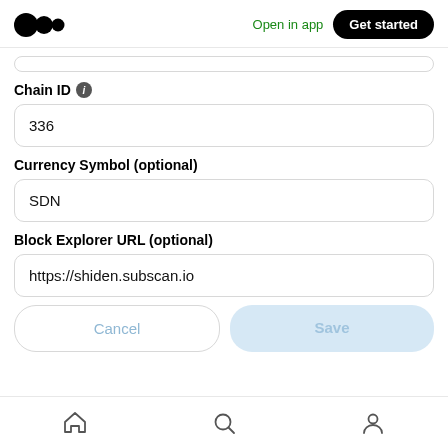Open in app   Get started
Chain ID
336
Currency Symbol (optional)
SDN
Block Explorer URL (optional)
https://shiden.subscan.io
Cancel   Save